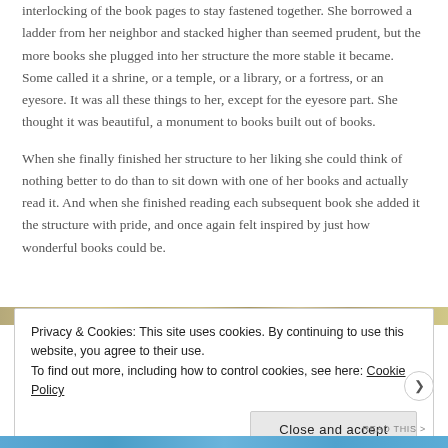interlocking of the book pages to stay fastened together. She borrowed a ladder from her neighbor and stacked higher than seemed prudent, but the more books she plugged into her structure the more stable it became. Some called it a shrine, or a temple, or a library, or a fortress, or an eyesore. It was all these things to her, except for the eyesore part. She thought it was beautiful, a monument to books built out of books.
When she finally finished her structure to her liking she could think of nothing better to do than to sit down with one of her books and actually read it. And when she finished reading each subsequent book she added it the structure with pride, and once again felt inspired by just how wonderful books could be.
Privacy & Cookies: This site uses cookies. By continuing to use this website, you agree to their use.
To find out more, including how to control cookies, see here: Cookie Policy